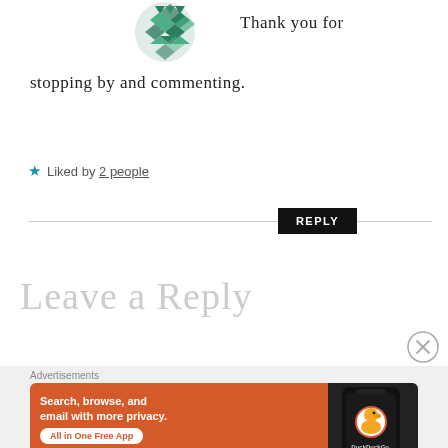[Figure (logo): Green geometric/mosaic circular avatar icon (WordPress-style default avatar) in teal/green colors]
Thank you for stopping by and commenting.
★ Liked by 2 people
REPLY
Leave a Reply
[Figure (other): Close/dismiss button circle with X symbol]
Advertisements
[Figure (screenshot): DuckDuckGo advertisement banner. Orange background. Text: Search, browse, and email with more privacy. All in One Free App. DuckDuckGo logo with duck icon on phone mockup.]